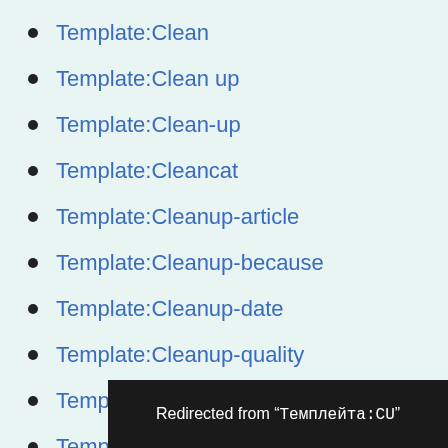Template:Clean
Template:Clean up
Template:Clean-up
Template:Cleancat
Template:Cleanup-article
Template:Cleanup-because
Template:Cleanup-date
Template:Cleanup-quality
Template:Cleanup-reason
Template:Cleanup-since
Template:Clu
Redirected from "Темплейта:CU"